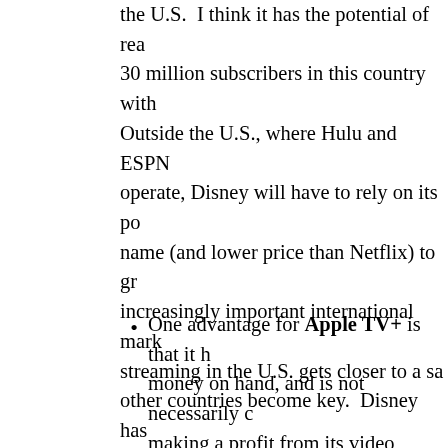the U.S.  I think it has the potential of reaching 30 million subscribers in this country with... Outside the U.S., where Hulu and ESPN+ do not operate, Disney will have to rely on its powerful name (and lower price than Netflix) to grow in increasingly important international markets, as streaming in the U.S. gets closer to a saturation other countries become key.  Disney has said it expects two-thirds of its subscribers to be outside by 2024.
One advantage for Apple TV+ is that it has money on hand, and is not necessarily counting on making a profit from its video streaming since it will be a tiny fraction of the company's business... can afford to lose. Apple TV+ has...